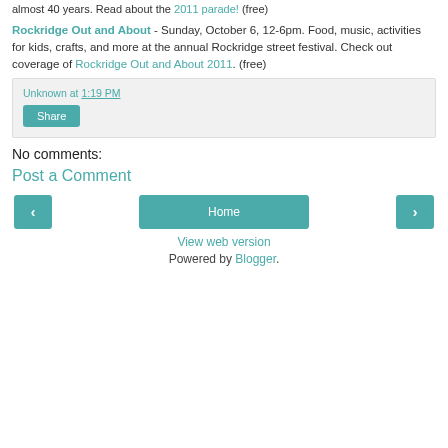almost 40 years. Read about the 2011 parade! (free)
Rockridge Out and About - Sunday, October 6, 12-6pm. Food, music, activities for kids, crafts, and more at the annual Rockridge street festival. Check out coverage of Rockridge Out and About 2011. (free)
Unknown at 1:19 PM
Share
No comments:
Post a Comment
‹
Home
›
View web version
Powered by Blogger.